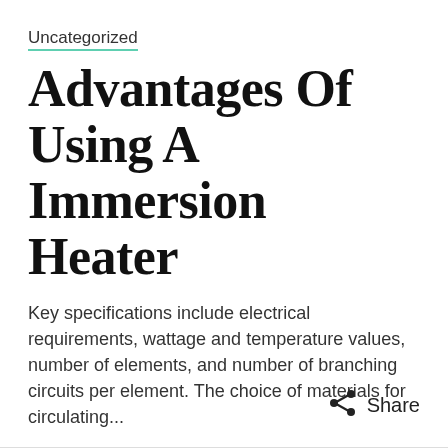Uncategorized
Advantages Of Using A Immersion Heater
Key specifications include electrical requirements, wattage and temperature values, number of elements, and number of branching circuits per element. The choice of materials for circulating...
Continue Reading >
Share